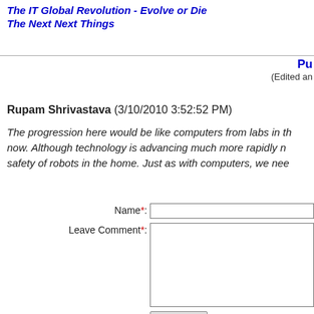The IT Global Revolution - Evolve or Die
The Next Next Things
Pu (Edited an
Rupam Shrivastava (3/10/2010 3:52:52 PM)
The progression here would be like computers from labs in th now. Although technology is advancing much more rapidly n safety of robots in the home. Just as with computers, we nee
Name*: [input field]
Leave Comment*: [textarea]
Submit